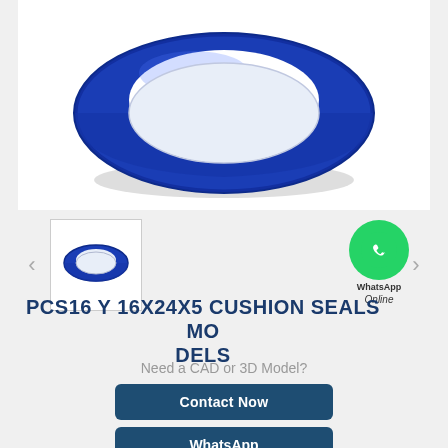[Figure (photo): Large photo of a blue polyurethane cushion seal ring viewed from above, donut-shaped with a flat face, on a white background]
[Figure (photo): Thumbnail image of the same blue cushion seal ring, smaller, viewed at a slight angle]
[Figure (logo): WhatsApp green circle logo with phone handset icon, labeled 'WhatsApp Online']
PCS16 Y 16X24X5 CUSHION SEALS MODELS
Need a CAD or 3D Model?
Contact Now
WhatsApp
Be Our Agent